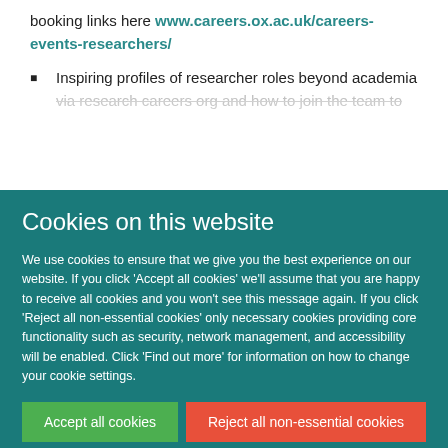booking links here www.careers.ox.ac.uk/careers-events-researchers/
Inspiring profiles of researcher roles beyond academia via research careers org and how to join the team to
Cookies on this website
We use cookies to ensure that we give you the best experience on our website. If you click 'Accept all cookies' we'll assume that you are happy to receive all cookies and you won't see this message again. If you click 'Reject all non-essential cookies' only necessary cookies providing core functionality such as security, network management, and accessibility will be enabled. Click 'Find out more' for information on how to change your cookie settings.
Accept all cookies
Reject all non-essential cookies
Find out more